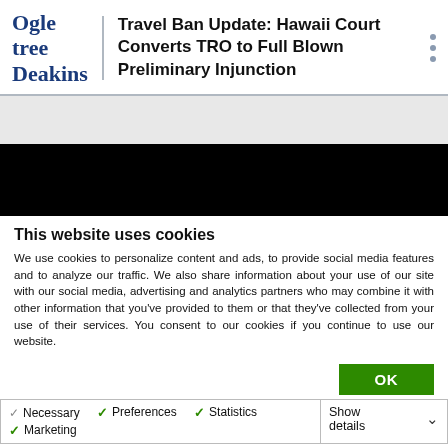Ogletree Deakins — Travel Ban Update: Hawaii Court Converts TRO to Full Blown Preliminary Injunction
[Figure (other): Black banner image area (redacted/obscured content)]
This website uses cookies
We use cookies to personalize content and ads, to provide social media features and to analyze our traffic. We also share information about your use of our site with our social media, advertising and analytics partners who may combine it with other information that you've provided to them or that they've collected from your use of their services. You consent to our cookies if you continue to use our website.
OK
Necessary   Preferences   Statistics   Marketing   Show details